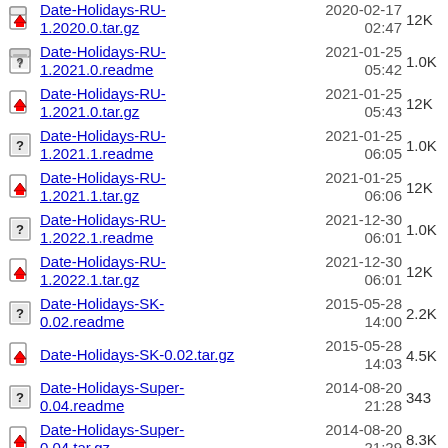Date-Holidays-RU-1.2020.0.tar.gz  2020-02-17 02:47  12K
Date-Holidays-RU-1.2021.0.readme  2021-01-25 05:42  1.0K
Date-Holidays-RU-1.2021.0.tar.gz  2021-01-25 05:43  12K
Date-Holidays-RU-1.2021.1.readme  2021-01-25 06:05  1.0K
Date-Holidays-RU-1.2021.1.tar.gz  2021-01-25 06:06  12K
Date-Holidays-RU-1.2022.1.readme  2021-12-30 06:01  1.0K
Date-Holidays-RU-1.2022.1.tar.gz  2021-12-30 06:01  12K
Date-Holidays-SK-0.02.readme  2015-05-28 14:00  2.2K
Date-Holidays-SK-0.02.tar.gz  2015-05-28 14:03  4.5K
Date-Holidays-Super-0.04.readme  2014-08-20 21:28  343
Date-Holidays-Super-0.04.tar.gz  2014-08-20 21:29  8.3K